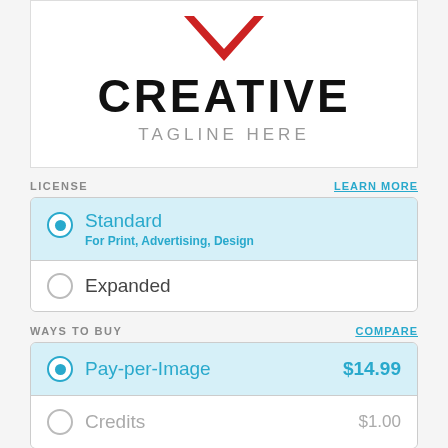[Figure (logo): Creative brand logo with red downward chevron/heart shape above bold black text CREATIVE and gray tagline TAGLINE HERE]
LICENSE
LEARN MORE
Standard — For Print, Advertising, Design (selected)
Expanded
WAYS TO BUY
COMPARE
Pay-per-Image $14.99 (selected)
Credits $1.00